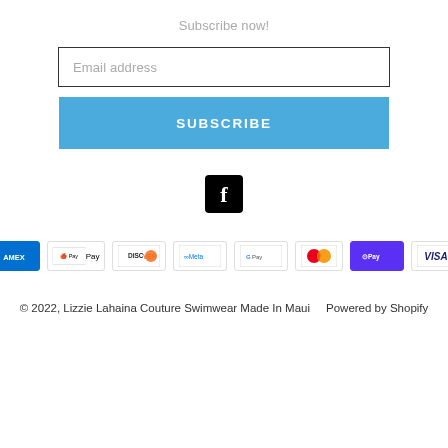Subscribe now!
Email address
SUBSCRIBE
[Figure (logo): Facebook icon — white f on black square background]
[Figure (infographic): Payment method logos: Amex, Apple Pay, Discover, Meta Pay, Google Pay, Mastercard, Shop Pay, Visa]
© 2022, Lizzie Lahaina Couture Swimwear Made In Maui    Powered by Shopify